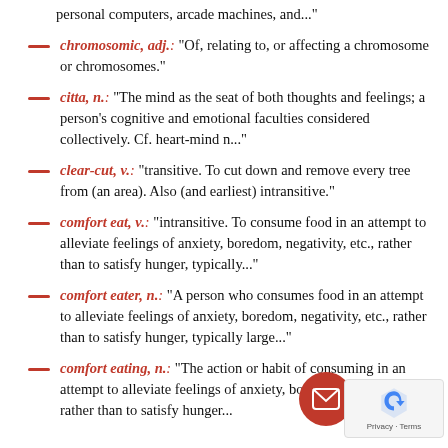...mimicked the timbre of sound effects from (typically vintage) personal computers, arcade machines, and..."
chromosomic, adj.: "Of, relating to, or affecting a chromosome or chromosomes."
citta, n.: "The mind as the seat of both thoughts and feelings; a person's cognitive and emotional faculties considered collectively. Cf. heart-mind n..."
clear-cut, v.: "transitive. To cut down and remove every tree from (an area). Also (and earliest) intransitive."
comfort eat, v.: "intransitive. To consume food in an attempt to alleviate feelings of anxiety, boredom, negativity, etc., rather than to satisfy hunger, typically..."
comfort eater, n.: "A person who consumes food in an attempt to alleviate feelings of anxiety, boredom, negativity, etc., rather than to satisfy hunger, typically large..."
comfort eating, n.: "The action or habit of consuming in an attempt to alleviate feelings of anxiety, boredom, negativity, etc., rather than to satisfy hunger..."